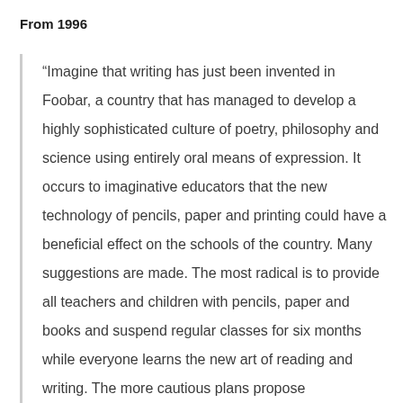From 1996
“Imagine that writing has just been invented in Foobar, a country that has managed to develop a highly sophisticated culture of poetry, philosophy and science using entirely oral means of expression. It occurs to imaginative educators that the new technology of pencils, paper and printing could have a beneficial effect on the schools of the country. Many suggestions are made. The most radical is to provide all teachers and children with pencils, paper and books and suspend regular classes for six months while everyone learns the new art of reading and writing. The more cautious plans propose